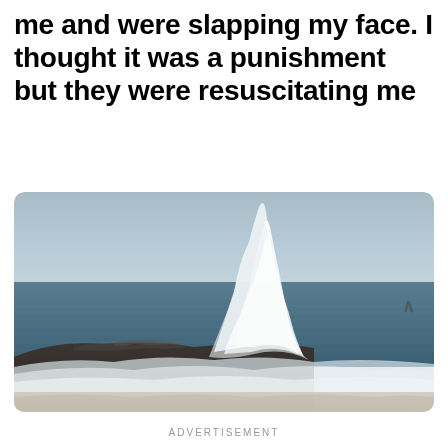me and were slapping my face. I thought it was a punishment but they were resuscitating me
[Figure (photo): Ocean wave crashing dramatically over dark rocks on a beach, with foam and spray, sea and sky in the background. A small caret/arrow symbol visible on the right side of the image.]
ADVERTISEMENT